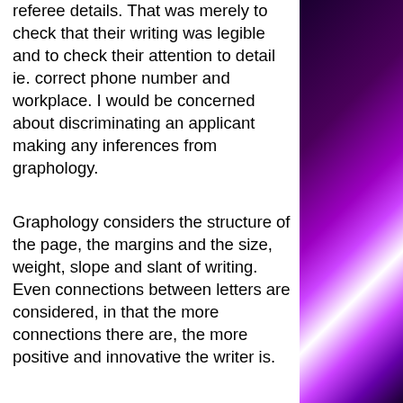referee details. That was merely to check that their writing was legible and to check their attention to detail ie. correct phone number and workplace. I would be concerned about discriminating an applicant making any inferences from graphology.
Graphology considers the structure of the page, the margins and the size, weight, slope and slant of writing. Even connections between letters are considered, in that the more connections there are, the more positive and innovative the writer is.
In summary, graphology sounds like an interesting method but I would only use it to supplement what I pick up by other
[Figure (photo): Purple and magenta light burst / bokeh effect on dark background, decorative sidebar on the right side of the page]